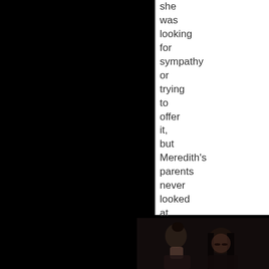she was looking for sympathy or trying to offer it, but Meredith's parents never looked at her."
[Figure (photo): Dark photograph showing two people from behind/side, a person with dark hair in a bun on the left and a person with long straight dark hair on the right, in a dimly lit setting.]